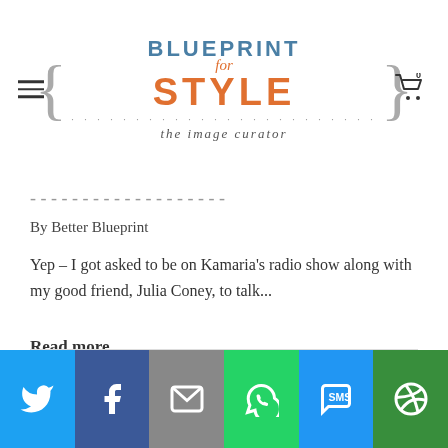[Figure (logo): Blueprint for Style logo with curly brackets, blue BLUEPRINT text, orange for italic, orange STYLE, dotted line, 'the image curator' tagline]
By Better Blueprint
Yep – I got asked to be on Kamaria's radio show along with my good friend, Julia Coney, to talk...
Read more
[Figure (infographic): Social sharing bar with Twitter, Facebook, Email, WhatsApp, SMS, and More buttons]